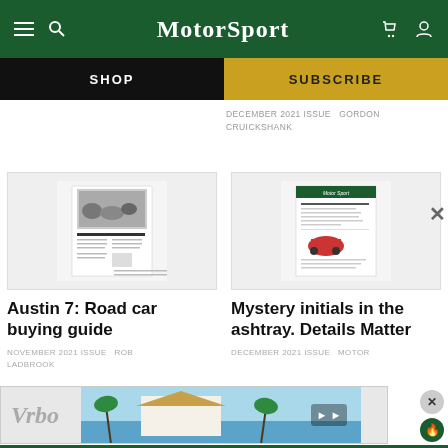Motor Sport
SHOP
SUBSCRIBE
DECEMBER 2021 ISSUE  GORDON CRUICKSHANK
[Figure (screenshot): Thumbnail of a Motor Sport magazine article page showing black and white vintage car photo and text columns]
Austin 7: Road car buying guide
NOVEMBER 2021 ISSUE  ROB LADBROOK
[Figure (screenshot): Thumbnail of a Motor Sport magazine article page with green header bar and text columns with small red car illustration]
Mystery initials in the ashtray. Details Matter
DECEMBER 2021 ISSUE  MOTOR
[Figure (screenshot): Vrbo advertisement banner with logo and tropical beach house image]